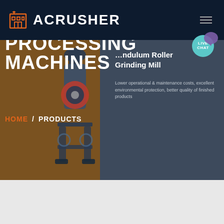[Figure (logo): ACRUSHER company logo with orange building icon and white bold text on dark navy navigation bar]
[Figure (screenshot): Website hero section showing COMPLETE STONE PROCESSING MACHINES headline over a brown and dark blue-gray background with industrial grinding machine image, product callout for Pendulum Roller Grinding Mill, and HOME / PRODUCTS breadcrumb navigation]